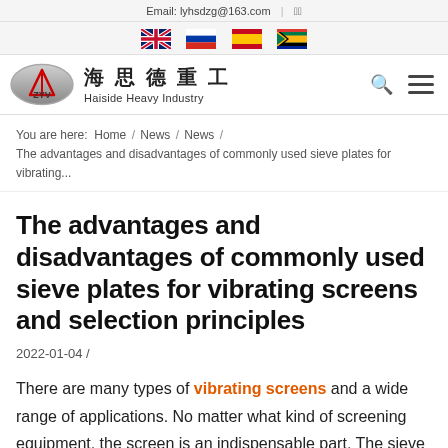Email: lyhsdzg@163.com
[Figure (logo): ZYV / Haiside Heavy Industry logo with Chinese characters 海思德重工 and English subtitle]
You are here:  Home / News / News / The advantages and disadvantages of commonly used sieve plates for vibrating...
The advantages and disadvantages of commonly used sieve plates for vibrating screens and selection principles
2022-01-04 /
There are many types of vibrating screens and a wide range of applications. No matter what kind of screening equipment, the screen is an indispensable part. The sieve